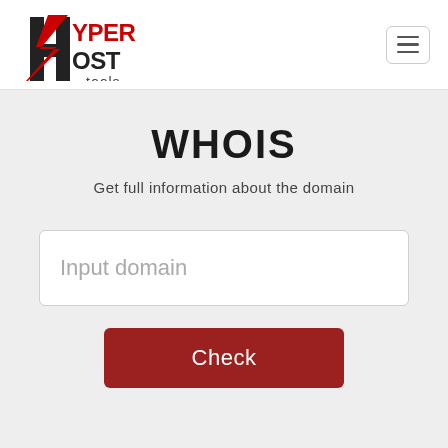[Figure (logo): HyperHost Tools logo with stylized H and lightning bolt in red and dark grey, with 'tools' text below]
WHOIS
Get full information about the domain
Input domain
Check